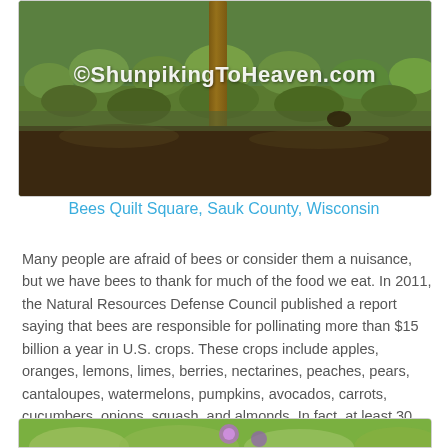[Figure (photo): Outdoor photograph showing grass and ground with a wooden post, watermarked with ©ShunpikingToHeaven.com]
Bees Quilt Square, Sauk County, Wisconsin
Many people are afraid of bees or consider them a nuisance, but we have bees to thank for much of the food we eat. In 2011, the Natural Resources Defense Council published a report saying that bees are responsible for pollinating more than $15 billion a year in U.S. crops. These crops include apples, oranges, lemons, limes, berries, nectarines, peaches, pears, cantaloupes, watermelons, pumpkins, avocados, carrots, cucumbers, onions, squash, and almonds. In fact, at least 30 percent of the world's crops and 90% of wild plants thrive because of cross-pollination by bees.
[Figure (photo): Bottom partial photo, appears to show flowers or plants, partially visible at bottom of page]